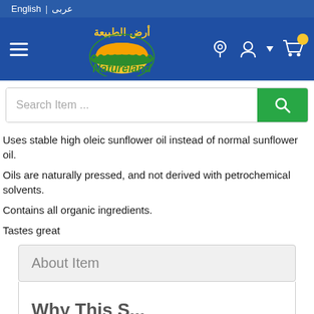English | عربى
[Figure (logo): Natureland (أرض الطبيعة) logo with navigation bar including hamburger menu, location icon, account icon, and cart icon]
Search Item ...
Uses stable high oleic sunflower oil instead of normal sunflower oil.
Oils are naturally pressed, and not derived with petrochemical solvents.
Contains all organic ingredients.
Tastes great
About Item
Why This...